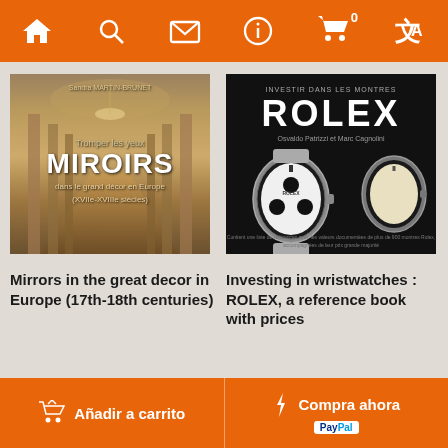Navigation bar with home, search, mail, info, cart (0), translate icons
[Figure (photo): Book cover: Miroirs - Tromper les yeux dans le grand decor en Europe (XVIIe-XVIIIe siecles) by Sandra Martin-Brunet, showing ornate hall of mirrors]
Mirrors in the great decor in Europe (17th-18th centuries)
[Figure (photo): Book cover: Investir dans les montres - ROLEX by Osvaldo Patrizzi et Marc Cagnolini, showing Rolex watches on dark background]
Investing in wristwatches : ROLEX, a reference book with prices
Añadir a carrito | Compra ahora | PayPal